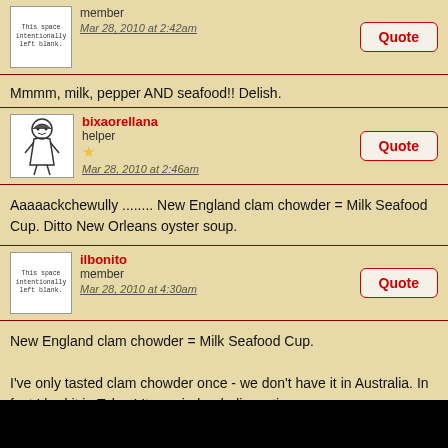member
Mar 28, 2010 at 2:42am
Mmmm, milk, pepper AND seafood!! Delish.
bixaorellana
helper
Mar 28, 2010 at 2:46am
Aaaaackchewully ........ New England clam chowder = Milk Seafood Cup. Ditto New Orleans oyster soup.
ilbonito
member
Mar 28, 2010 at 4:30am
New England clam chowder = Milk Seafood Cup.

I've only tasted clam chowder once - we don't have it in Australia. In fact I had it in Tokyo! It was indeed, disgusting.
gertie
member
Apr 8, 2010 at 4:22am